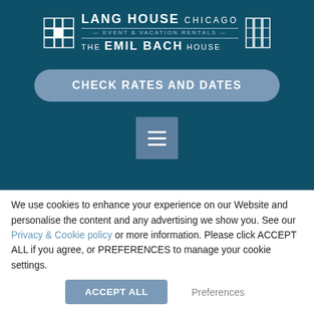[Figure (logo): Lang House Chicago Event & Vacation Rentals - The Emil Bach House logo with decorative tile/grid icons on both sides]
CHECK RATES AND DATES
[Figure (other): Hamburger menu button (three horizontal lines) on a muted blue-grey square background]
items from local specialty shops.
Aug. 19-21: Glenwood Avenue Arts Fest: Cobblestone
We use cookies to enhance your experience on our Website and personalise the content and any advertising we show you. See our Privacy & Cookie policy or more information. Please click ACCEPT ALL if you agree, or PREFERENCES to manage your cookie settings.
ACCEPT ALL
Preferences